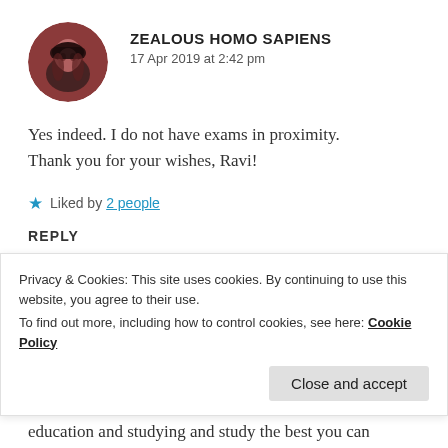ZEALOUS HOMO SAPIENS
17 Apr 2019 at 2:42 pm
Yes indeed. I do not have exams in proximity. Thank you for your wishes, Ravi!
★ Liked by 2 people
REPLY
Privacy & Cookies: This site uses cookies. By continuing to use this website, you agree to their use.
To find out more, including how to control cookies, see here: Cookie Policy
Close and accept
education and studying and study the best you can